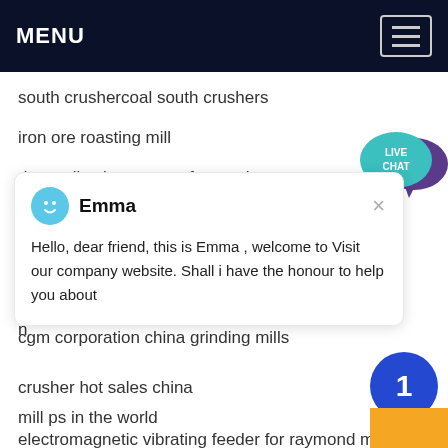MENU
south crushercoal south crushers
iron ore roasting mill
dust collection system for crushers
u
r
n
Hello, dear friend, this is Emma , welcome to Visit our company website. Shall i have the honour to help you about
cgm corporation china grinding mills
crusher hot sales china
mill ps in the world
electromagnetic vibrating feeder for raymond mill